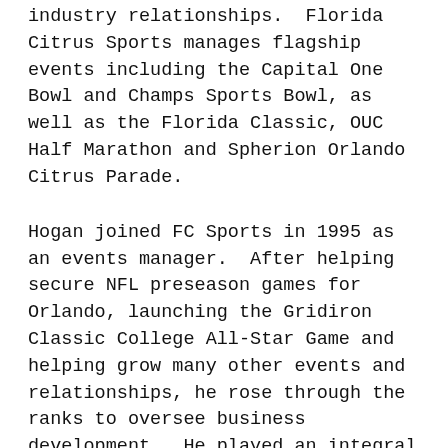industry relationships.  Florida Citrus Sports manages flagship events including the Capital One Bowl and Champs Sports Bowl, as well as the Florida Classic, OUC Half Marathon and Spherion Orlando Citrus Parade.
Hogan joined FC Sports in 1995 as an events manager.  After helping secure NFL preseason games for Orlando, launching the Gridiron Classic College All-Star Game and helping grow many other events and relationships, he rose through the ranks to oversee business development.  He played an integral role in securing a state-of-the-art video scoreboard for the stadium and in developing a partnership with Champs Sports for the title position for one of Orlandoï¿½s two successful bowl games.  He was named Executive Director in 2004, succeeding the late Tom Mickle.